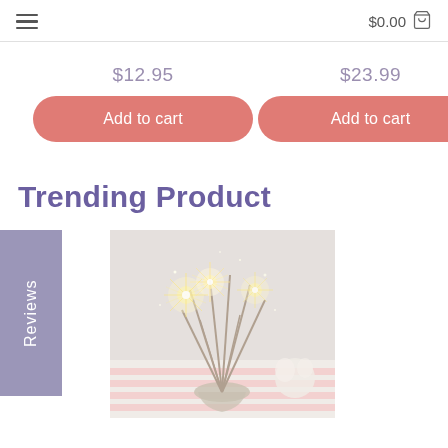$0.00
$12.95
Add to cart
$23.99
Add to cart
Trending Product
Reviews
[Figure (photo): Sparklers arranged in a vase on a pink-striped surface with white flowers, bright light sparks visible]